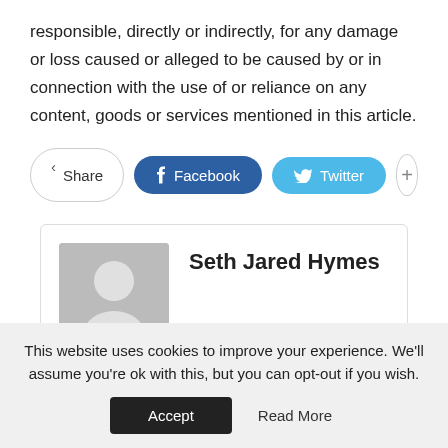responsible, directly or indirectly, for any damage or loss caused or alleged to be caused by or in connection with the use of or reliance on any content, goods or services mentioned in this article.
[Figure (infographic): Social sharing buttons: Share, Facebook, Twitter, and a plus button]
[Figure (infographic): Author card with placeholder avatar image and name Seth Jared Hymes]
Seth Jared Hymes
This website uses cookies to improve your experience. We'll assume you're ok with this, but you can opt-out if you wish.
Accept
Read More